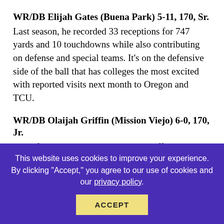WR/DB Elijah Gates (Buena Park) 5-11, 170, Sr.
Last season, he recorded 33 receptions for 747 yards and 10 touchdowns while also contributing on defense and special teams. It's on the defensive side of the ball that has colleges the most excited with reported visits next month to Oregon and TCU.
WR/DB Olaijah Griffin (Mission Viejo) 6-0, 170, Jr.
One of the top juniors in the state, Griffin shined as both a receiver and a corner for the 16-0 Diablos last season. He was second team preseason All-State and almost was first team both for that and for the section.
WR/ATH Keyshawn Johnson Jr. (Calabasas) 6-0, 175, Sr.
The Coyotes captured the CIF Southern Section Western Division
This website uses cookies to improve your experience. By clicking "Accept," you agree to our use of cookies and our privacy policy.